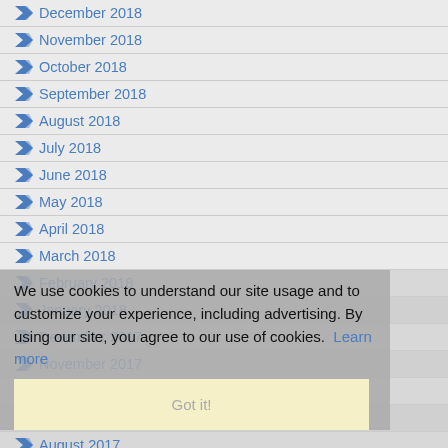December 2018
November 2018
October 2018
September 2018
August 2018
July 2018
June 2018
May 2018
April 2018
March 2018
February 2018
January 2018
December 2017
November 2017
October 2017
September 2017
August 2017
July 2017
June 2017
May 2017
April 2017
We use cookies to understand our site usage and to customize your experience, including advertising. By using our site, you agree to our use of cookies. Learn more
Got it!